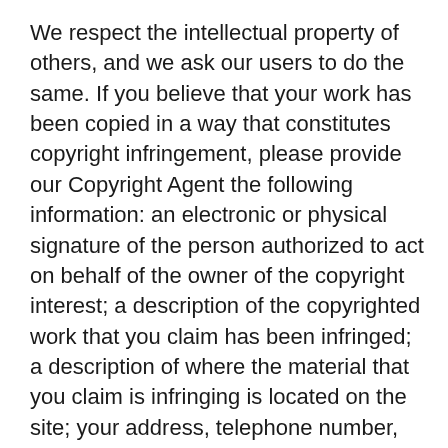We respect the intellectual property of others, and we ask our users to do the same. If you believe that your work has been copied in a way that constitutes copyright infringement, please provide our Copyright Agent the following information: an electronic or physical signature of the person authorized to act on behalf of the owner of the copyright interest; a description of the copyrighted work that you claim has been infringed; a description of where the material that you claim is infringing is located on the site; your address, telephone number, and email address; a statement by you that you have a good faith belief that the disputed use is not authorized by the copyright owner, its agent, or the law; a statement by you, made under penalty of perjury, that the above information in your notice is accurate and that you are the copyright owner or